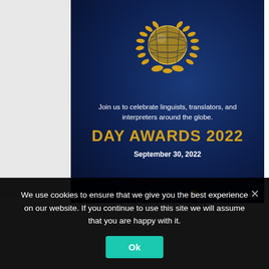[Figure (illustration): Dark blue promotional banner for Day Awards 2022 featuring a gold globe with laurel wreath emblem, text reading 'Join us to celebrate linguists, translators, and interpreters around the globe.', 'DAY AWARDS 2022', 'September 30, 2022', and 'DayTranslations' logo at bottom right.]
We use cookies to ensure that we give you the best experience on our website. If you continue to use this site we will assume that you are happy with it.